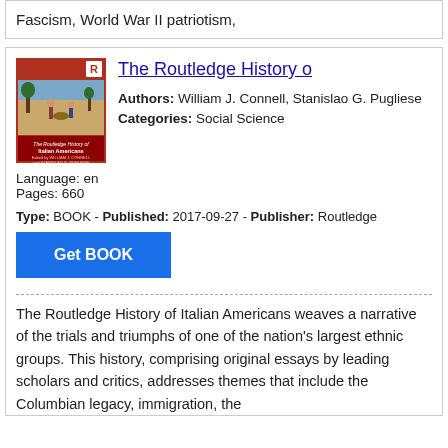Fascism, World War II patriotism,
The Routledge History o...
Authors: William J. Connell, Stanislao G. Pugliese
Language: en
Pages: 660
Categories: Social Science
Type: BOOK - Published: 2017-09-27 - Publisher: Routledge
Get BOOK
The Routledge History of Italian Americans weaves a narrative of the trials and triumphs of one of the nation's largest ethnic groups. This history, comprising original essays by leading scholars and critics, addresses themes that include the Columbian legacy, immigration, the